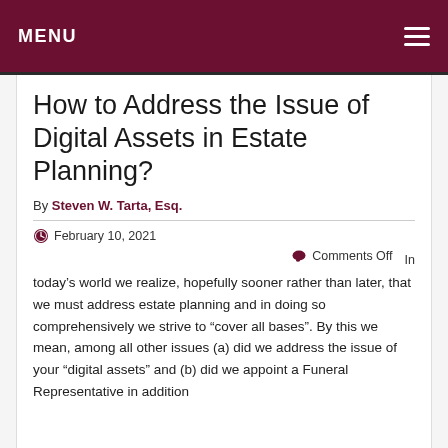MENU
How to Address the Issue of Digital Assets in Estate Planning?
By Steven W. Tarta, Esq.
February 10, 2021
Comments Off  In
today’s world we realize, hopefully sooner rather than later, that we must address estate planning and in doing so comprehensively we strive to “cover all bases”. By this we mean, among all other issues (a) did we address the issue of your “digital assets” and (b) did we appoint a Funeral Representative in addition